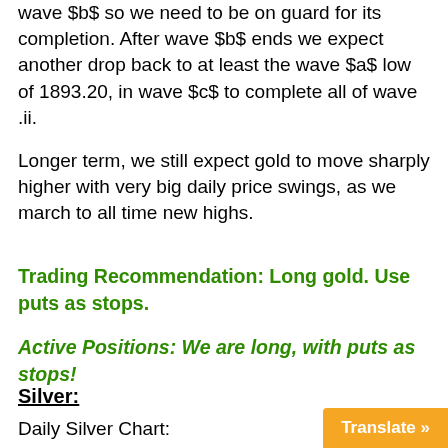wave $b$ so we need to be on guard for its completion. After wave $b$ ends we expect another drop back to at least the wave $a$ low of 1893.20, in wave $c$ to complete all of wave .ii.
Longer term, we still expect gold to move sharply higher with very big daily price swings, as we march to all time new highs.
Trading Recommendation: Long gold. Use puts as stops.
Active Positions: We are long, with puts as stops!
Silver:
Daily Silver Chart:
https://captainewave.com/wp-content/uploads/2022/04/ewapr1822...